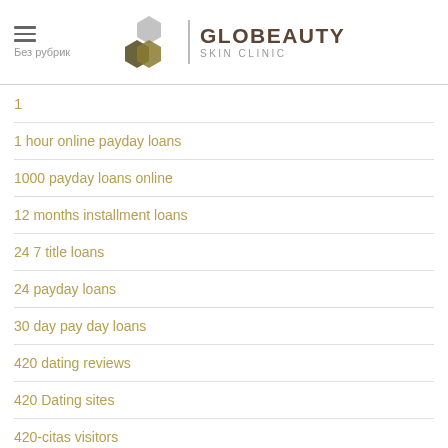Без рубрик | GLOBEAUTY SKIN CLINIC
1
1 hour online payday loans
1000 payday loans online
12 months installment loans
24 7 title loans
24 payday loans
30 day pay day loans
420 dating reviews
420 Dating sites
420-citas visitors